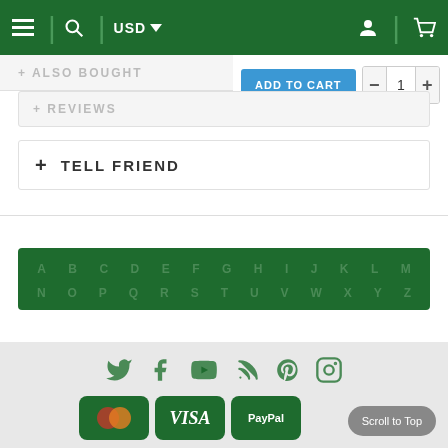[Figure (screenshot): E-commerce website navigation bar with hamburger menu, search icon, USD currency selector, user account icon, and cart icon on green background]
+ ALSO BOUGHT
ADD TO CART
1
+ REVIEWS
+ TELL FRIEND
A B C D E F G H I J K L M N O P Q R S T U V W X Y Z
[Figure (screenshot): Social media icons: Twitter, Facebook, YouTube, RSS, Pinterest, Instagram in green color]
[Figure (screenshot): Payment method icons: Mastercard, VISA, PayPal on dark green backgrounds]
Scroll to Top